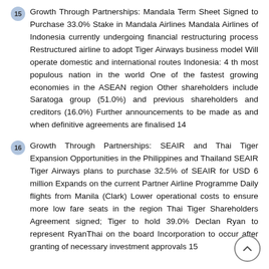15 Growth Through Partnerships: Mandala Term Sheet Signed to Purchase 33.0% Stake in Mandala Airlines Mandala Airlines of Indonesia currently undergoing financial restructuring process Restructured airline to adopt Tiger Airways business model Will operate domestic and international routes Indonesia: 4 th most populous nation in the world One of the fastest growing economies in the ASEAN region Other shareholders include Saratoga group (51.0%) and previous shareholders and creditors (16.0%) Further announcements to be made as and when definitive agreements are finalised 14
16 Growth Through Partnerships: SEAIR and Thai Tiger Expansion Opportunities in the Philippines and Thailand SEAIR Tiger Airways plans to purchase 32.5% of SEAIR for USD 6 million Expands on the current Partner Airline Programme Daily flights from Manila (Clark) Lower operational costs to ensure more low fare seats in the region Thai Tiger Shareholders Agreement signed; Tiger to hold 39.0% Declan Ryan to represent RyanThai on the board Incorporation to occur after granting of necessary investment approvals 15